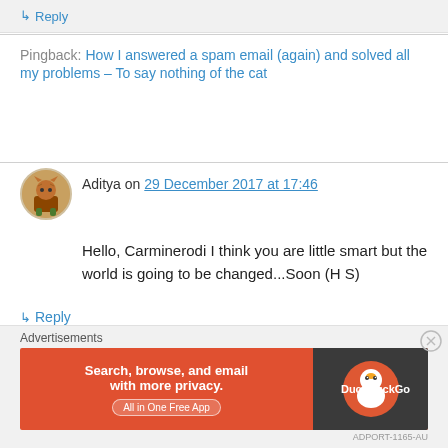↳ Reply
Pingback: How I answered a spam email (again) and solved all my problems – To say nothing of the cat
Aditya on 29 December 2017 at 17:46
Hello, Carminerodi I think you are little smart but the world is going to be changed...Soon (H S)
★ Like
↳ Reply
Advertisements
Search, browse, and email with more privacy.
All in One Free App